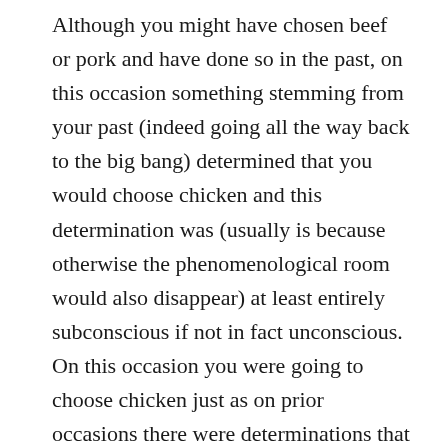Although you might have chosen beef or pork and have done so in the past, on this occasion something stemming from your past (indeed going all the way back to the big bang) determined that you would choose chicken and this determination was (usually is because otherwise the phenomenological room would also disappear) at least entirely subconscious if not in fact unconscious. On this occasion you were going to choose chicken just as on prior occasions there were determinations that led to your choosing steak or pork at those times. Automatons are entities that sometimes appear to make free decisions from a purely behavioral viewpoint, but which we know not to be free because we understand all of what leads deterministically to those choices; that is, we know all of what